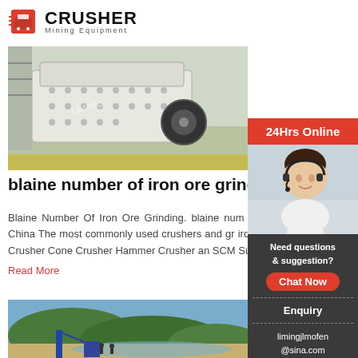[Figure (logo): Crusher Mining Equipment logo with red shopping bag icon and bold CRUSHER text]
[Figure (photo): Industrial impact crusher machine in a factory setting, white/grey colored heavy equipment]
blaine number of iron ore grinding Prominer ...
Blaine Number Of Iron Ore Grinding. blaine number of iron ore grinding emaxlist blaine index iron ore Grind China The most commonly used crushers and grinding iron ore crushing and grinding process for iron ore Jaw Crusher Cone Crusher Hammer Crusher and SCM Super-Micro Mill etc.
Read More
[Figure (photo): Outdoor mining/construction site photo with equipment and landscape]
[Figure (infographic): Sidebar with 24Hrs Online banner, customer service representative photo, Need questions & suggestion?, Chat Now button, Enquiry section, limingjlmofen@sina.com email]